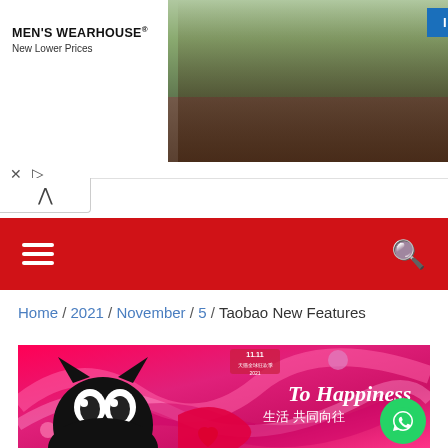[Figure (photo): Men's Wearhouse advertisement banner showing a couple in formal wear and a man in a suit, with 'INFO' button]
MEN'S WEARHOUSE® New Lower Prices
[Figure (screenshot): Navigation bar with hamburger menu icon on left and search icon on right, red background]
Home / 2021 / November / 5 / Taobao New Features
[Figure (photo): Tmall black cat mascot on a colorful red/pink background with 'To Happiness' text and Chinese characters '生活 共同向往'. Tmall 11.11 Global Shopping Festival branding visible.]